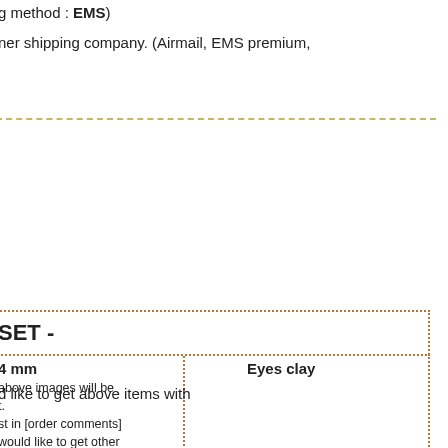g method : EMS)
ner shipping company. (Airmail, EMS premium,
| SET - |  |  |
| --- | --- | --- |
| 4 mm
above images will be
t.
st in [order comments]
would like to get other
his doll. | Eyes clay |  |
| nsions | Certificate |  |
d like to get above items with